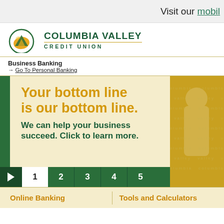Visit our mobil
[Figure (logo): Columbia Valley Credit Union logo with mountain/leaf icon and green text]
Business Banking
→ Go To Personal Banking
[Figure (infographic): Banner with text: Your bottom line is our bottom line. We can help your business succeed. Click to learn more. With slideshow navigation showing play button and numbers 1 2 3 4 5.]
Online Banking
Tools and Calculators